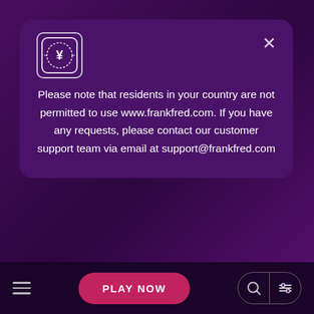[Figure (screenshot): Casino website modal dialog on dark purple background. Modal shows Frank&Fred casino logo (coin with currency symbol in laurel wreath), a close (X) button, and a geo-restriction notice message. Below the modal partial background text about responsible gambling is visible. Bottom navigation bar with hamburger menu, pink PLAY NOW button, and search/filter icon buttons.]
Please note that residents in your country are not permitted to use www.frankfred.com. If you have any requests, please contact our customer support team via email at support@frankfred.com
Playing with us can be an enjoyable form of entertainment and you might even win some money. But you cannot win every time. Losing is a part of the game and you have to be prepared for it. Therefore, you should play responsibly, and not risk money that you cannot afford to lose. We want all your gaming experiences to be positive, regardless of